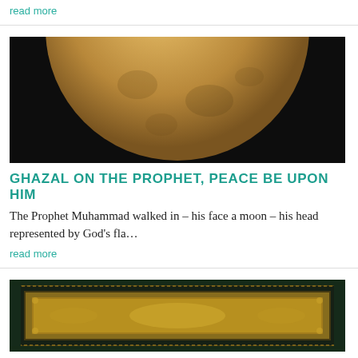read more
[Figure (photo): Close-up photograph of a full moon against a dark sky, showing a large golden/amber colored moon with visible surface details]
GHAZAL ON THE PROPHET, PEACE BE UPON HIM
The Prophet Muhammad walked in – his face a moon – his head represented by God's fla…
read more
[Figure (photo): Partial view of an ornately decorated Islamic manuscript or book cover with intricate geometric and floral patterns in gold and dark colors]